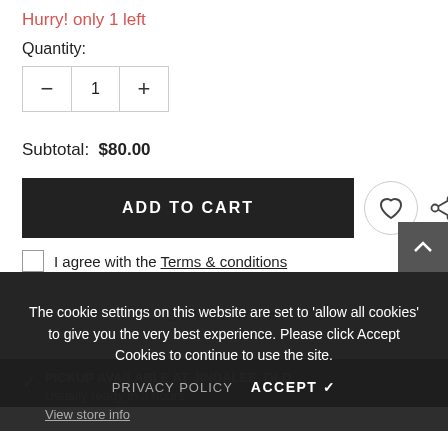Hurry! only 1 left
Quantity:
[Figure (other): Quantity stepper control with minus button, value of 1, and plus button]
Subtotal:  $80.00
ADD TO CART
I agree with the Terms & conditions
BUY IT NOW
✓ PICKUP AVAILABLE AT JINDALEE, QLD
Usually ready in 2 hours
View store info
The cookie settings on this website are set to 'allow all cookies' to give you the very best experience. Please click Accept Cookies to continue to use the site.
PRIVACY POLICY   ACCEPT ✓